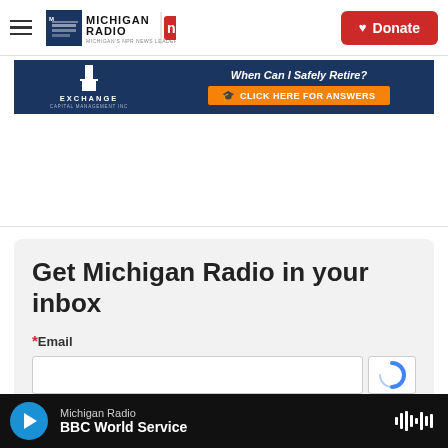Michigan Radio | NPR | Donate
[Figure (screenshot): Exchange Capital Management advertisement banner: 'When Can I Safely Retire? CLICK HERE FOR ANSWERS']
Get Michigan Radio in your inbox
*Email
Michigan Radio — BBC World Service (audio player bar)